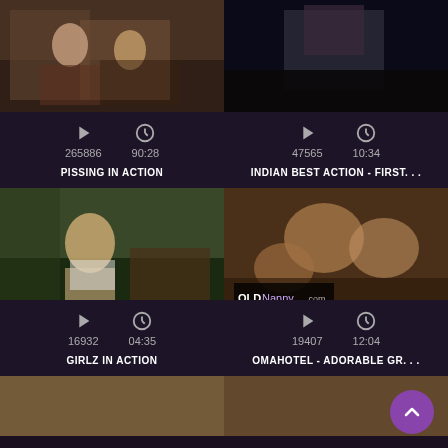[Figure (screenshot): Video thumbnail grid showing adult video website with 4 video cards and 2 partial bottom thumbnails. Top-left: PISSING IN ACTION, 265886 views, 90:28 duration. Top-right: INDIAN BEST ACTION - FIRST..., 47565 views, 10:34 duration. Middle-left: GIRLZ IN ACTION, 16932 views, 04:35 duration. Middle-right: OMAHOTEL - ADORABLE GR..., 19407 views, 12:04 duration. Bottom row shows two partial thumbnails. A purple scroll-to-top button is in the bottom-right corner.]